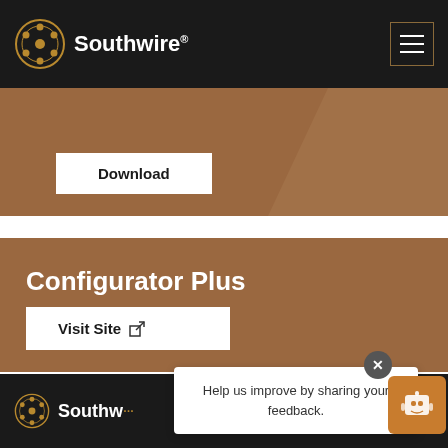Southwire
[Figure (screenshot): Southwire website screenshot showing Download button on brown banner, Configurator Plus section with Visit Site button, and feedback popup widget at bottom.]
Configurator Plus
Download
Visit Site
Help us improve by sharing your feedback.